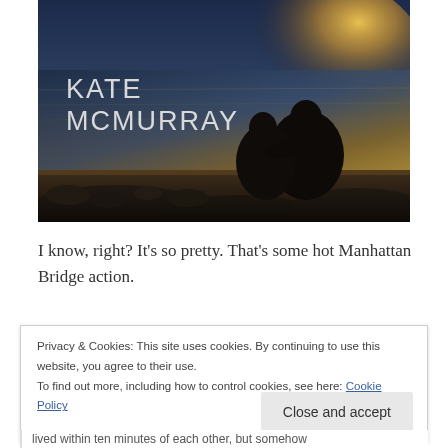[Figure (photo): Book cover photo showing two silhouetted figures sitting together by water at sunset/golden hour. Author name 'KATE MCMURRAY' in white sans-serif text on the left side.]
I know, right? It's so pretty. That's some hot Manhattan Bridge action.
Privacy & Cookies: This site uses cookies. By continuing to use this website, you agree to their use.
To find out more, including how to control cookies, see here: Cookie Policy
lived within ten minutes of each other, but somehow